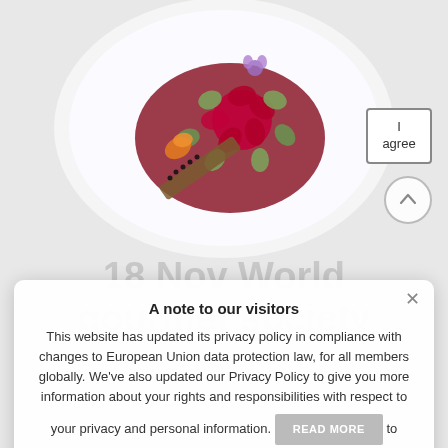[Figure (photo): Top-down photo of a gourmet food dish on a white plate — a beet rose garnished with cucumber slices and edible flowers, on a deep red sauce, with a cracker garnished with caviar and an orange flower.]
18 Nov World gourmet society
A note to our visitors
This website has updated its privacy policy in compliance with changes to European Union data protection law, for all members globally. We've also updated our Privacy Policy to give you more information about your rights and responsibilities with respect to your privacy and personal information. Please read this to review the updates about which cookies we use and what information we collect on our site. By continuing to use this site, you are agreeing to our updated privacy policy.
Read more